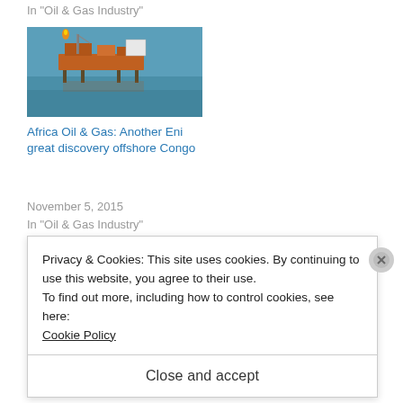In "Oil & Gas Industry"
[Figure (photo): Aerial view of an offshore oil and gas platform over blue ocean water, with orange structures and orange flame visible.]
Africa Oil & Gas: Another Eni great discovery offshore Congo
November 5, 2015
In "Oil & Gas Industry"
Privacy & Cookies: This site uses cookies. By continuing to use this website, you agree to their use.
To find out more, including how to control cookies, see here:
Cookie Policy
Close and accept